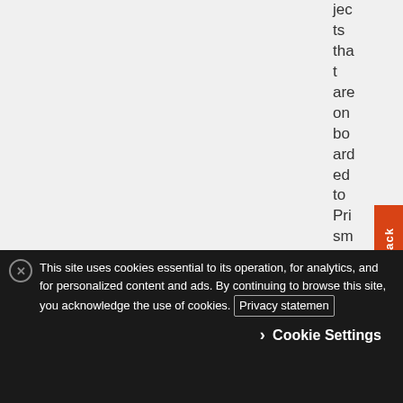jects that are onboarded to Prisma Cloud.
| Stackdriver Monitor | mon | Manag | Monitori | monitori | Project that |
| --- | --- | --- | --- | --- | --- |
| Monitor |  |  |  |  | that |
Feedback
This site uses cookies essential to its operation, for analytics, and for personalized content and ads. By continuing to browse this site, you acknowledge the use of cookies. Privacy statement
Cookie Settings